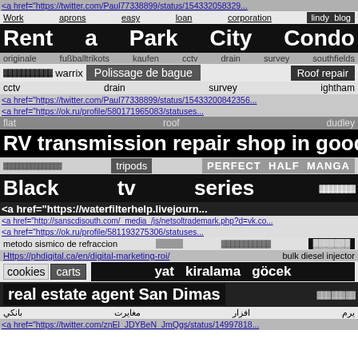<a href="https://twitter.com/Paul77338899/status/154332058329...
Work aprons easy loan corporation lindy blog
Rent a Park City Condo
originale fußballtrikots kaufen cctv drain survey southfields
warrix Polissage de bague Roof repair
cctv drain survey ightham
<a href="https://twitter.com/Paul77338899/status/15433200842356...
<a href="https://ok.ru/profile/580171965083/statuses...
flat roof dudley
RV transmission repair shop in goodye...
tripods PERFECT HALF MANGA
Black tv series
<a href="https://waterfilterhelp.livejourn...
<a href="http://sanscdisouth.com/_media_/js/netsoltrademark.php?d=vk.co...
<a href="https://ok.ru/profile/581193275306/statuses...
metodo sismico de refraccion bulk diesel injector
Https://phdigital.ca/en/digital-marketing-roi/ bulk diesel injector
cookies carts yat kiralama göcek
real estate agent San Dimas
يرم افزار مغايرت بانكي
<a href="https://twitter.com/znEl_JDYBeN_JmQgs/status/14997818...